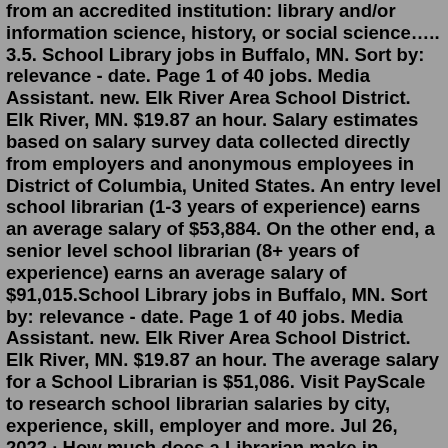from an accredited institution: library and/or information science, history, or social science….. 3.5. School Library jobs in Buffalo, MN. Sort by: relevance - date. Page 1 of 40 jobs. Media Assistant. new. Elk River Area School District. Elk River, MN. $19.87 an hour. Salary estimates based on salary survey data collected directly from employers and anonymous employees in District of Columbia, United States. An entry level school librarian (1-3 years of experience) earns an average salary of $53,884. On the other end, a senior level school librarian (8+ years of experience) earns an average salary of $91,015.School Library jobs in Buffalo, MN. Sort by: relevance - date. Page 1 of 40 jobs. Media Assistant. new. Elk River Area School District. Elk River, MN. $19.87 an hour. The average salary for a School Librarian is $51,086. Visit PayScale to research school librarian salaries by city, experience, skill, employer and more. Jul 26, 2022 · How much does a Librarian make in Illinois? The average Librarian salary in Illinois is $70,678 as of July 26, 2022, but the range